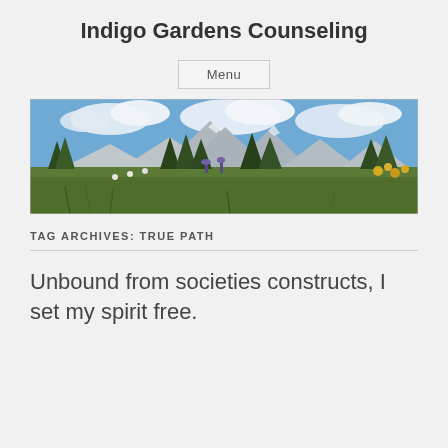Indigo Gardens Counseling
Menu
[Figure (photo): Panoramic landscape photo showing mountain peaks, evergreen trees, wildflowers in foreground, blue sky with clouds]
TAG ARCHIVES: TRUE PATH
Unbound from societies constructs, I set my spirit free.